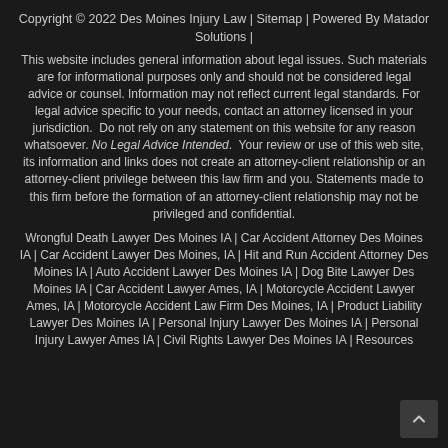Copyright © 2022 Des Moines Injury Law | Sitemap | Powered By Matador Solutions |
This website includes general information about legal issues. Such materials are for informational purposes only and should not be considered legal advice or counsel. Information may not reflect current legal standards. For legal advice specific to your needs, contact an attorney licensed in your jurisdiction.  Do not rely on any statement on this website for any reason whatsoever. No Legal Advice Intended.  Your review or use of this web site, its information and links does not create an attorney-client relationship or an attorney-client privilege between this law firm and you. Statements made to this firm before the formation of an attorney-client relationship may not be privileged and confidential.
Wrongful Death Lawyer Des Moines IA | Car Accident Attorney Des Moines IA | Car Accident Lawyer Des Moines, IA | Hit and Run Accident Attorney Des Moines IA | Auto Accident Lawyer Des Moines IA | Dog Bite Lawyer Des Moines IA | Car Accident Lawyer Ames, IA | Motorcycle Accident Lawyer Ames, IA | Motorcycle Accident Law Firm Des Moines, IA | Product Liability Lawyer Des Moines IA | Personal Injury Lawyer Des Moines IA | Personal Injury Lawyer Ames IA | Civil Rights Lawyer Des Moines IA | Resources